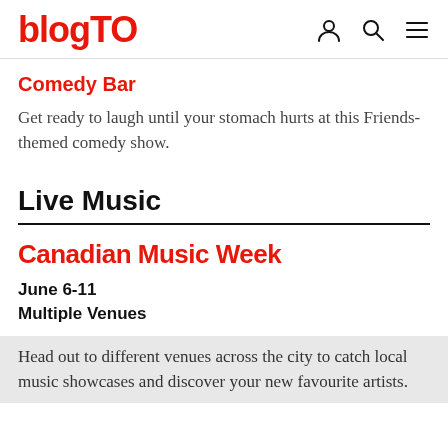blogTO
Comedy Bar
Get ready to laugh until your stomach hurts at this Friends-themed comedy show.
Live Music
Canadian Music Week
June 6-11
Multiple Venues
Head out to different venues across the city to catch local music showcases and discover your new favourite artists.